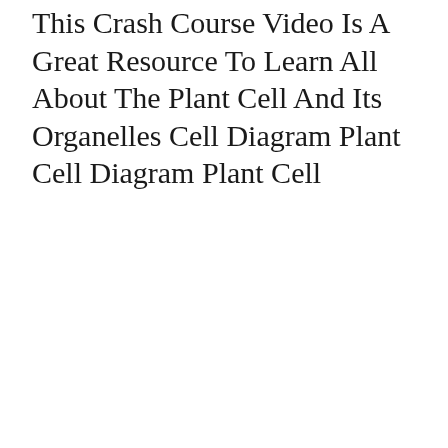This Crash Course Video Is A Great Resource To Learn All About The Plant Cell And Its Organelles Cell Diagram Plant Cell Diagram Plant Cell